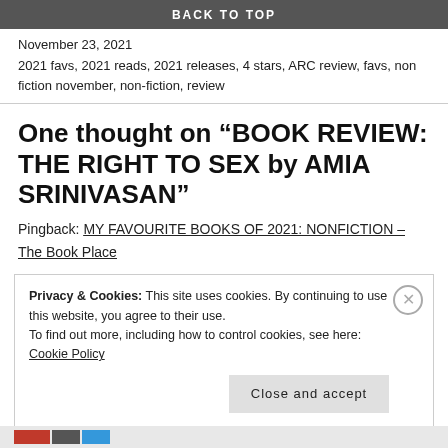BACK TO TOP
November 23, 2021
2021 favs, 2021 reads, 2021 releases, 4 stars, ARC review, favs, non fiction november, non-fiction, review
One thought on “BOOK REVIEW: THE RIGHT TO SEX by AMIA SRINIVASAN”
Pingback: MY FAVOURITE BOOKS OF 2021: NONFICTION – The Book Place
Privacy & Cookies: This site uses cookies. By continuing to use this website, you agree to their use.
To find out more, including how to control cookies, see here: Cookie Policy
Close and accept